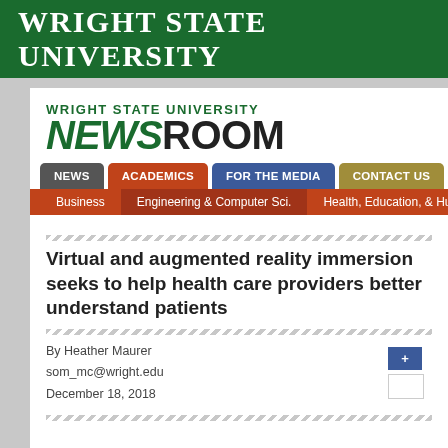Wright State University
Wright State University Newsroom
NEWS | ACADEMICS | FOR THE MEDIA | CONTACT US
Business | Engineering & Computer Sci. | Health, Education, & Human
Virtual and augmented reality immersion seeks to help health care providers better understand patients
By Heather Maurer
som_mc@wright.edu
December 18, 2018